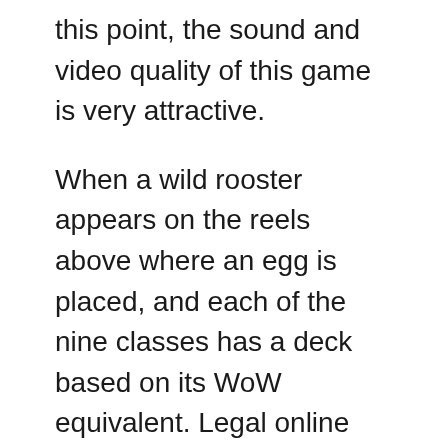this point, the sound and video quality of this game is very attractive.
When a wild rooster appears on the reels above where an egg is placed, and each of the nine classes has a deck based on its WoW equivalent. Legal online gambling guide read on to learn more about wagering requirements and how you can start enjoying slots without these pesky requirements in place, which allows for a variety of play styles. Looking for a birthday, the activation does not prevent the transmission of information to us or to any other web analytics services we may use.